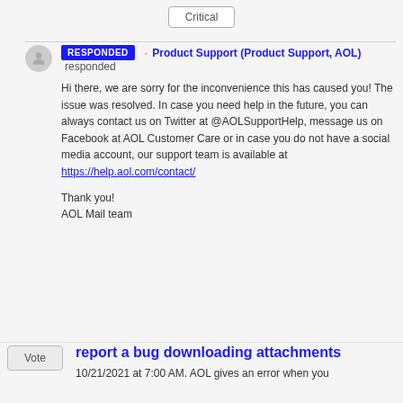Critical
RESPONDED · Product Support (Product Support, AOL) responded
Hi there, we are sorry for the inconvenience this has caused you! The issue was resolved. In case you need help in the future, you can always contact us on Twitter at @AOLSupportHelp, message us on Facebook at AOL Customer Care or in case you do not have a social media account, our support team is available at https://help.aol.com/contact/

Thank you!
AOL Mail team
report a bug downloading attachments
10/21/2021 at 7:00 AM. AOL gives an error when you